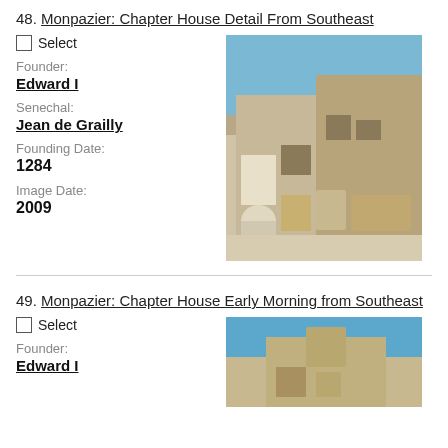48. Monpazier: Chapter House Detail From Southeast
Select
Founder: Edward I
Senechal: Jean de Grailly
Founding Date: 1284
Image Date: 2009
[Figure (photo): Stone building facade of Monpazier Chapter House from southeast, showing arched windows and balconies]
49. Monpazier: Chapter House Early Morning from Southeast
Select
Founder: Edward I
[Figure (photo): Partial view of Monpazier Chapter House early morning from southeast]